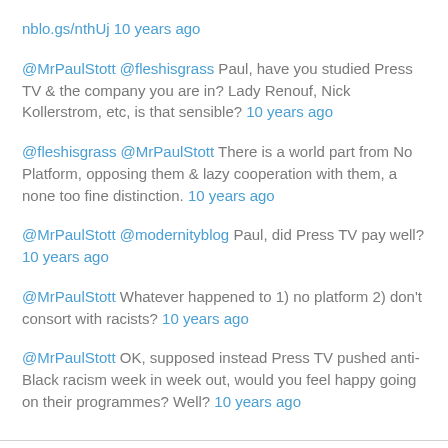nblo.gs/nthUj 10 years ago
@MrPaulStott @fleshisgrass Paul, have you studied Press TV & the company you are in? Lady Renouf, Nick Kollerstrom, etc, is that sensible? 10 years ago
@fleshisgrass @MrPaulStott There is a world part from No Platform, opposing them & lazy cooperation with them, a none too fine distinction. 10 years ago
@MrPaulStott @modernityblog Paul, did Press TV pay well? 10 years ago
@MrPaulStott Whatever happened to 1) no platform 2) don't consort with racists? 10 years ago
@MrPaulStott OK, supposed instead Press TV pushed anti-Black racism week in week out, would you feel happy going on their programmes? Well? 10 years ago